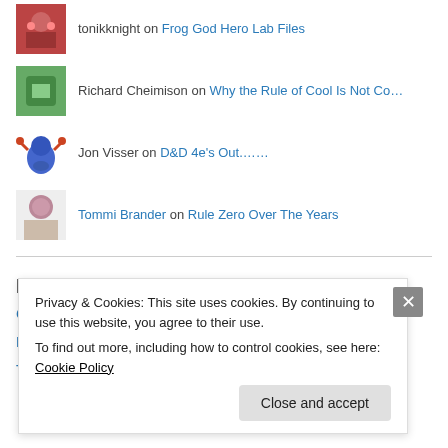tonikknight on Frog God Hero Lab Files
Richard Cheimison on Why the Rule of Cool Is Not Co...
Jon Visser on D&D 4e's Out.......
Tommi Brander on Rule Zero Over The Years
Newest Geekiness
Collection 1 – Kaiju Defenders: Next Gen
Kaiju Defenders, a Sentinel Comics RPG
Ty & That Guy Podcast
Privacy & Cookies: This site uses cookies. By continuing to use this website, you agree to their use. To find out more, including how to control cookies, see here: Cookie Policy